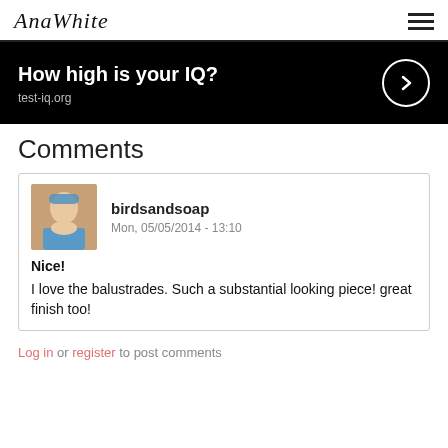AnaWhite
[Figure (screenshot): Advertisement banner with black background reading 'How high is your IQ?' with test-iq.org and a right-arrow circle button]
Comments
birdsandsoap
Mon, 05/05/2014 - 13:10

Nice!

I love the balustrades. Such a substantial looking piece! great finish too!
Log in or register to post comments